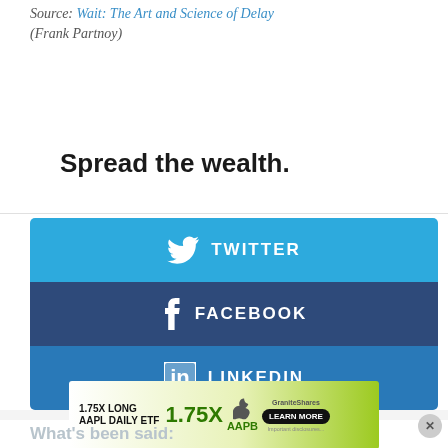Source: Wait: The Art and Science of Delay (Frank Partnoy)
Spread the wealth.
[Figure (infographic): Three social sharing buttons: Twitter (light blue), Facebook (dark blue), LinkedIn (medium blue), each with corresponding icon and label text in white.]
[Figure (infographic): Advertisement banner: 1.75X LONG AAPL DAILY ETF with 1.75X and AAPB ticker, GraniteShares logo, Learn More button, green gradient background.]
What's been said: